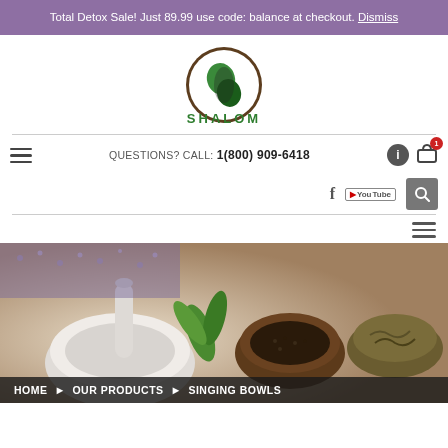Total Detox Sale! Just 89.99 use code: balance at checkout. Dismiss
[Figure (logo): Shalom brand logo: circular emblem with green leaf/S shape over dark background, text SHALOM below in green]
QUESTIONS? CALL: 1(800) 909-6418
[Figure (photo): Hero image of mortar and pestle with green herb leaves, surrounded by bowls of seeds and dried herbs]
HOME  OUR PRODUCTS  SINGING BOWLS